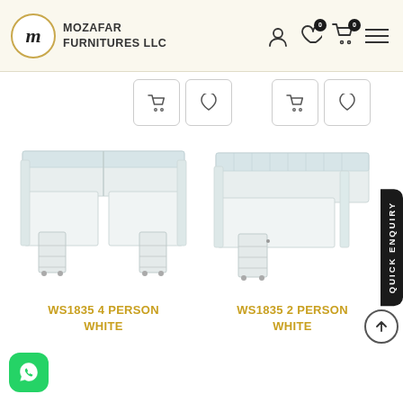[Figure (logo): Mozafar Furnitures LLC logo with circular M emblem and navigation icons]
[Figure (photo): WS1835 4 Person White office workstation cubicle with dividers and pedestal drawers]
WS1835 4 PERSON WHITE
[Figure (photo): WS1835 2 Person White office workstation cubicle with dividers and pedestal drawers]
WS1835 2 PERSON WHITE